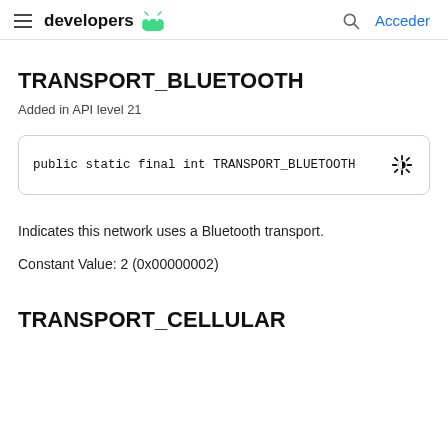developers | Acceder
TRANSPORT_BLUETOOTH
Added in API level 21
Indicates this network uses a Bluetooth transport.
Constant Value: 2 (0x00000002)
TRANSPORT_CELLULAR